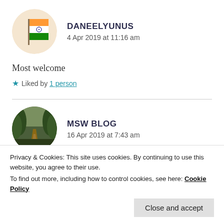[Figure (illustration): Circular avatar showing Indian flag]
DANEELYUNUS
4 Apr 2019 at 11:16 am
Most welcome
★ Liked by 1 person
[Figure (photo): Circular avatar showing a tree-lined path]
MSW BLOG
16 Apr 2019 at 7:43 am
Privacy & Cookies: This site uses cookies. By continuing to use this website, you agree to their use.
To find out more, including how to control cookies, see here: Cookie Policy
Close and accept